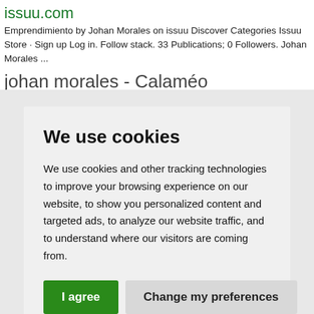issuu.com
Emprendimiento by Johan Morales on issuu Discover Categories Issuu Store · Sign up Log in. Follow stack. 33 Publications; 0 Followers. Johan Morales ...
johan morales - Calaméo
We use cookies
We use cookies and other tracking technologies to improve your browsing experience on our website, to show you personalized content and targeted ads, to analyze our website traffic, and to understand where our visitors are coming from.
I agree   Change my preferences